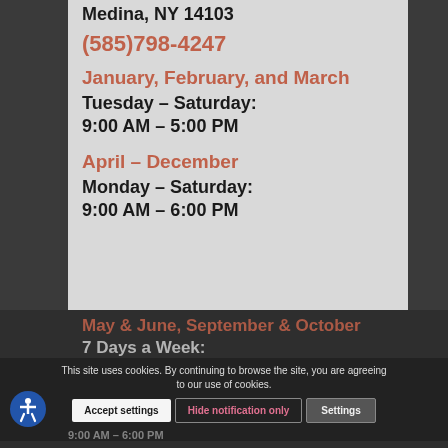Medina, NY 14103
(585)798-4247
January, February, and March
Tuesday – Saturday:
9:00 AM – 5:00 PM
April – December
Monday – Saturday:
9:00 AM – 6:00 PM
May & June, September & October
7 Days a Week:
9:00 AM – 6:00 PM
This site uses cookies. By continuing to browse the site, you are agreeing to our use of cookies.